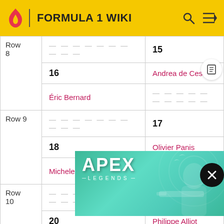FORMULA 1 WIKI
| Row | Position/Driver | Position/Driver |
| --- | --- | --- |
| Row 8 | ————————————— | 15 |
| Row 8 | 16 | Andrea de Cesaris |
| Row 8 | Éric Bernard | ————————————— |
| Row 9 | ————————————— | 17 |
| Row 9 | 18 | Olivier Panis |
| Row 9 | Michele Alboreto | ————————————— |
| Row 10 | ————————————— | 19 |
| Row 10 | 20 | Philippe Alliot |
| Row 11 |  |  |
| Row 11 | 22 | David Brabham |
[Figure (advertisement): Apex Legends game advertisement banner showing a character with a sniper rifle on a teal/green background]